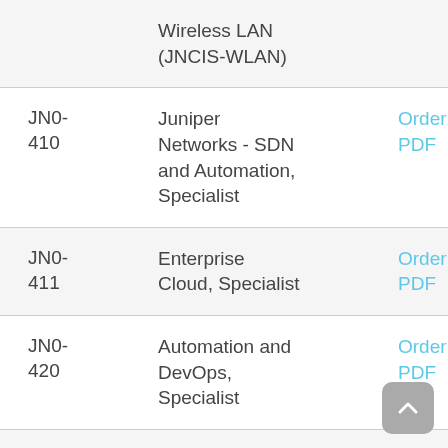| Code | Name | Link |
| --- | --- | --- |
|  | Wireless LAN (JNCIS-WLAN) |  |
| JN0-410 | Juniper Networks - SDN and Automation, Specialist | Order PDF |
| JN0-411 | Enterprise Cloud, Specialist | Order PDF |
| JN0-420 | Automation and DevOps, Specialist | Order PDF |
| JN0-521 | Juniper Networks Certified | Get PDF File |